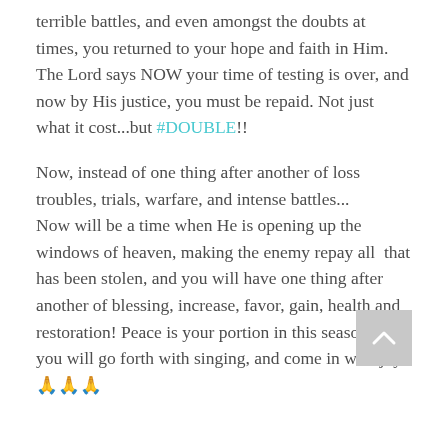terrible battles, and even amongst the doubts at times, you returned to your hope and faith in Him. The Lord says NOW your time of testing is over, and now by His justice, you must be repaid. Not just what it cost...but #DOUBLE!!
Now, instead of one thing after another of loss troubles, trials, warfare, and intense battles...
Now will be a time when He is opening up the windows of heaven, making the enemy repay all  that has been stolen, and you will have one thing after another of blessing, increase, favor, gain, health and restoration! Peace is your portion in this season, and you will go forth with singing, and come in with joy! 🙏🙏🙏